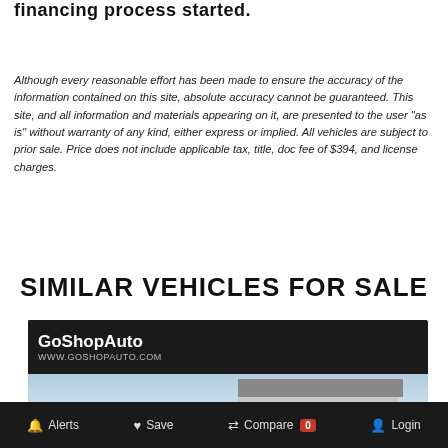financing process started.
Although every reasonable effort has been made to ensure the accuracy of the information contained on this site, absolute accuracy cannot be guaranteed. This site, and all information and materials appearing on it, are presented to the user "as is" without warranty of any kind, either express or implied. All vehicles are subject to prior sale. Price does not include applicable tax, title, doc fee of $394, and license charges.
SIMILAR VEHICLES FOR SALE
[Figure (screenshot): GoShopAuto dealership screenshot showing logo, website URL, and car lot photo with vehicles]
Alerts  Save  Compare 0  Login